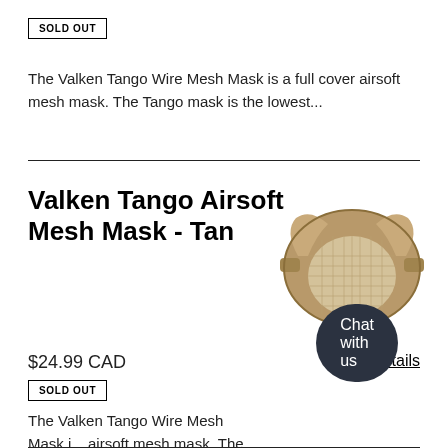SOLD OUT
The Valken Tango Wire Mesh Mask is a full cover airsoft mesh mask. The Tango mask is the lowest...
Valken Tango Airsoft Mesh Mask - Tan
[Figure (photo): Tan airsoft wire mesh half-face mask product photo]
$24.99 CAD
View details
SOLD OUT
The Valken Tango Wire Mesh Mask i... airsoft mesh mask. The Tango mask
Chat with us